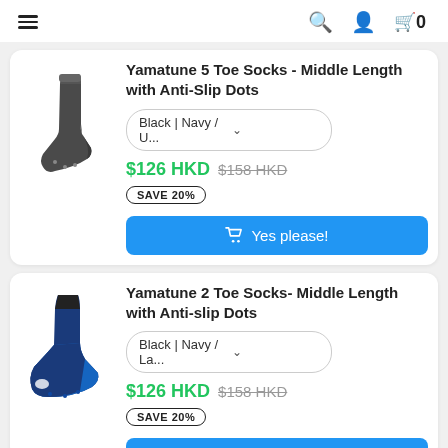Navigation bar with menu, search, account, cart icons
[Figure (photo): Dark grey ankle sock (5 toe sock) product image]
Yamatune 5 Toe Socks - Middle Length with Anti-Slip Dots
Black | Navy / U... (variant dropdown)
$126 HKD  $158 HKD  SAVE 20%
Yes please! (Add to cart button)
[Figure (photo): Blue and black ankle sock (2 toe sock) product image]
Yamatune 2 Toe Socks- Middle Length with Anti-slip Dots
Black | Navy / La... (variant dropdown)
$126 HKD  $158 HKD  SAVE 20%
Yes please! (Add to cart button, partially visible)